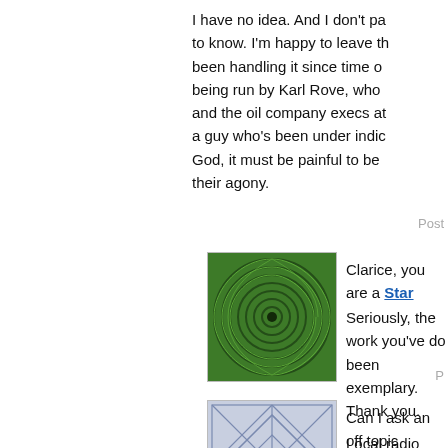I have no idea. And I don't pa to know. I'm happy to leave th been handling it since time o being run by Karl Rove, who and the oil company execs at a guy who's been under indic
God, it must be painful to be their agony.
Post
[Figure (illustration): Green spiral/swirl pattern avatar image]
Clarice, you are a Star
Seriously, the work you've do been exemplary. Thank you.
P
[Figure (illustration): Blue/grey geometric star pattern avatar image]
Can I ask an off topic questio
Local radio show just had on NSA eavsdropping program a trashed the program, and I th program actually does.